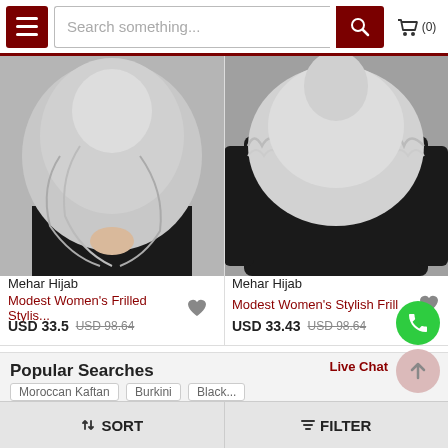[Figure (screenshot): E-commerce website header with hamburger menu, search bar, and cart icon showing (0) items]
[Figure (photo): Gray frilled hijab worn by a model in black clothing, front view]
Mehar Hijab
Modest Women's Frilled Stylis...
USD 33.5  USD 98.64
[Figure (photo): Gray ruffled hijab worn by a model in black clothing, back view]
Mehar Hijab
Modest Women's Stylish Frill ...
USD 33.43  USD 98.64
Popular Searches
Live Chat
Moroccan Kaftan   Burkini   Black...
SORT   FILTER